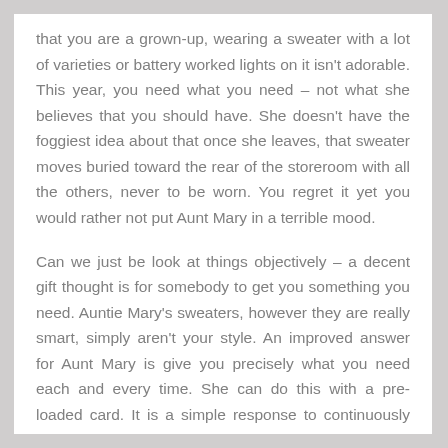that you are a grown-up, wearing a sweater with a lot of varieties or battery worked lights on it isn't adorable. This year, you need what you need – not what she believes that you should have. She doesn't have the foggiest idea about that once she leaves, that sweater moves buried toward the rear of the storeroom with all the others, never to be worn. You regret it yet you would rather not put Aunt Mary in a terrible mood.
Can we just be look at things objectively – a decent gift thought is for somebody to get you something you need. Auntie Mary's sweaters, however they are really smart, simply aren't your style. An improved answer for Aunt Mary is give you precisely what you need each and every time. She can do this with a pre-loaded card. It is a simple response to continuously giving, and getting, the ideal gift like clockwork